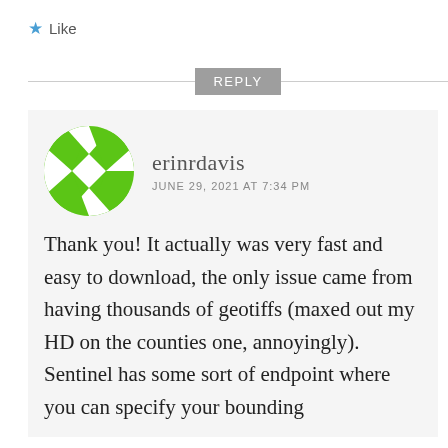★ Like
REPLY
[Figure (illustration): Green circular avatar with geometric diamond/triangle pattern in white and green]
erinrdavis
JUNE 29, 2021 AT 7:34 PM
Thank you! It actually was very fast and easy to download, the only issue came from having thousands of geotiffs (maxed out my HD on the counties one, annoyingly). Sentinel has some sort of endpoint where you can specify your bounding